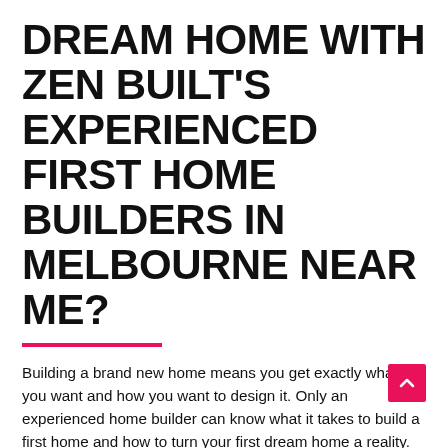DREAM HOME WITH ZEN BUILT'S EXPERIENCED FIRST HOME BUILDERS IN MELBOURNE NEAR ME?
Building a brand new home means you get exactly what you want and how you want to design it. Only an experienced home builder can know what it takes to build a first home and how to turn your first dream home a reality. When you're looking for the first home builders in Melbourne near me, Zen Built, is the one who will value your emotions and excitement of building your very first home in Melbourne. Since our inception, we have established Zen Built as one of the leading first home builders in Melbourne, dedicated to helping individuals and families, and first home buyers move